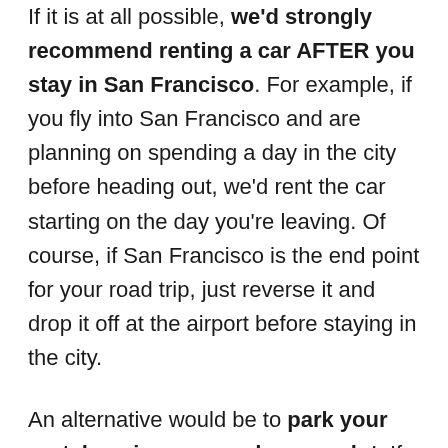If it is at all possible, we'd strongly recommend renting a car AFTER you stay in San Francisco. For example, if you fly into San Francisco and are planning on spending a day in the city before heading out, we'd rent the car starting on the day you're leaving. Of course, if San Francisco is the end point for your road trip, just reverse it and drop it off at the airport before staying in the city.
An alternative would be to park your rental car in a covered, secure lot. If you're staying overnight and your hotel has parking, we'd choose to pay for it and plan to use Lyft / public